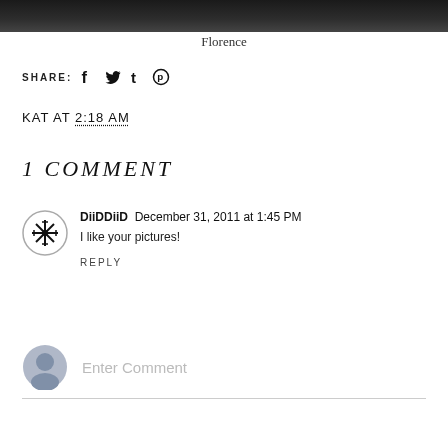[Figure (photo): Dark photograph at top of page, mostly black/dark tones]
Florence
SHARE: [facebook] [twitter] [tumblr] [pinterest]
KAT AT 2:18 AM
1 COMMENT
DiiDDiiD  December 31, 2011 at 1:45 PM
I like your pictures!
REPLY
Enter Comment